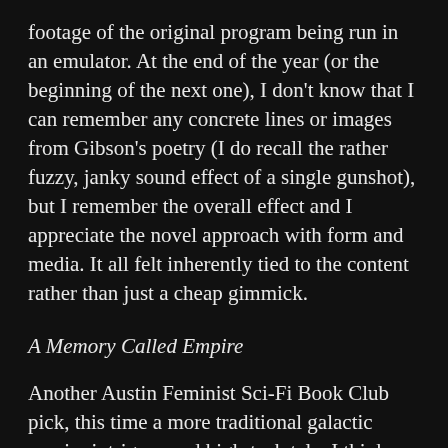footage of the original program being run in an emulator. At the end of the year (or the beginning of the next one), I don't know that I can remember any concrete lines or images from Gibson's poetry (I do recall the rather fuzzy, janky sound effect of a single gunshot), but I remember the overall effect and I appreciate the novel approach with form and media. It all felt inherently tied to the content rather than just a cheap gimmick.
A Memory Called Empire
Another Austin Feminist Sci-Fi Book Club pick, this time a more traditional galactic empire intrigues and high-tech tale. I think this one